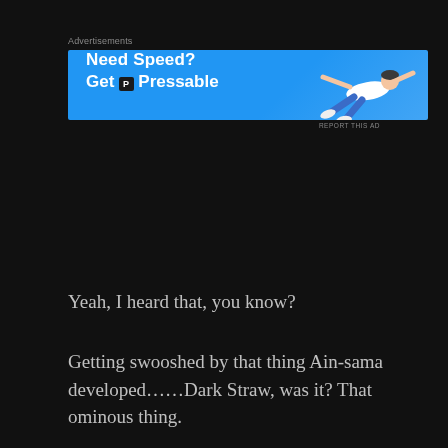[Figure (other): Advertisement banner for Pressable web hosting. Blue background with white bold text 'Need Speed? Get P Pressable' and a flying person graphic on the right side.]
Yeah, I heard that, you know?
Getting swooshed by that thing Ain-sama developed……Dark Straw, was it? That ominous thing.
Please spare me.
That thing is really ominous.